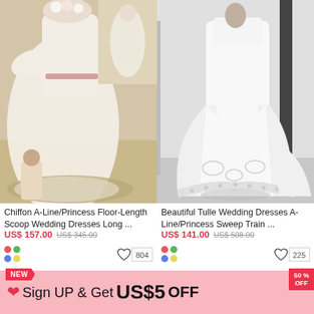[Figure (photo): Left product: Chiffon A-Line/Princess Floor-Length Scoop Wedding Dresses — collage of two photos showing brides in flowing pinkish-white chiffon dresses in outdoor sepia-toned setting]
Chiffon A-Line/Princess Floor-Length Scoop Wedding Dresses Long ...
US$ 157.00  US$ 345.00
804
[Figure (photo): Right product: Beautiful Tulle Wedding Dresses A-Line/Princess Sweep Train — black and white photo showing back of bride in long flowing tulle gown with lace hem detail]
Beautiful Tulle Wedding Dresses A-Line/Princess Sweep Train ...
US$ 141.00  US$ 508.00
225
NEW
50% OFF
Sign UP & Get  US$5  OFF